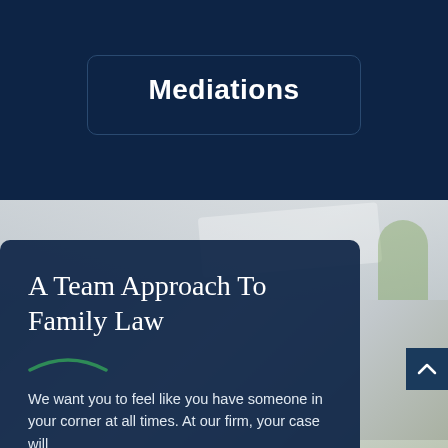Mediations
A Team Approach To Family Law
We want you to feel like you have someone in your corner at all times. At our firm, your case will